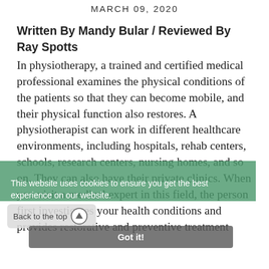MARCH 09, 2020
Written By Mandy Bular / Reviewed By Ray Spotts In physiotherapy, a trained and certified medical professional examines the physical conditions of the patients so that they can become mobile, and their physical function also restores. A physiotherapist can work in different healthcare environments, including hospitals, rehab centers, schools, research centers, nursing homes, and so on. They can also have their private clinics. When you visit a medical expert in this field, the person first investigates your health conditions and provides restorative and preventive treatment